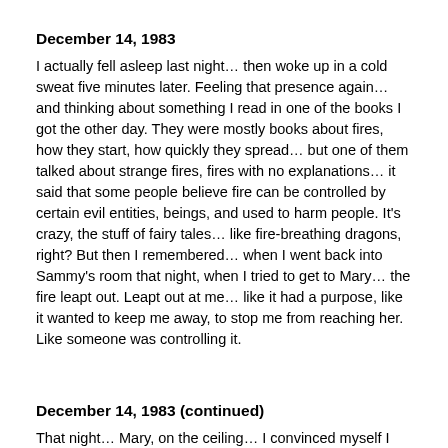December 14, 1983
I actually fell asleep last night… then woke up in a cold sweat five minutes later. Feeling that presence again… and thinking about something I read in one of the books I got the other day. They were mostly books about fires, how they start, how quickly they spread… but one of them talked about strange fires, fires with no explanations… it said that some people believe fire can be controlled by certain evil entities, beings, and used to harm people. It's crazy, the stuff of fairy tales… like fire-breathing dragons, right? But then I remembered… when I went back into Sammy's room that night, when I tried to get to Mary… the fire leapt out. Leapt out at me… like it had a purpose, like it wanted to keep me away, to stop me from reaching her. Like someone was controlling it.
December 14, 1983 (continued)
That night… Mary, on the ceiling… I convinced myself I imagined it, made it up somehow. But now I know, without a doubt – she was